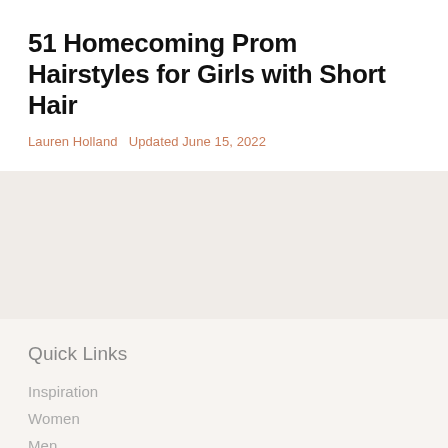51 Homecoming Prom Hairstyles for Girls with Short Hair
Lauren Holland  Updated June 15, 2022
[Figure (other): Light beige/grey shaded content area placeholder]
Quick Links
Inspiration
Women
Men